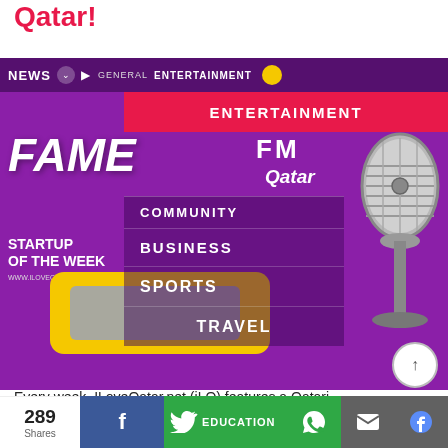Qatar!
[Figure (screenshot): ILoveQatar.net website screenshot showing a navigation menu overlay with options: ENTERTAINMENT, COMMUNITY, BUSINESS, SPORTS, TRAVEL. Background shows Fame FM Qatar promotional image with purple background, retro radio, and vintage microphone. Includes 'STARTUP OF THE WEEK' text and www.iloveqatar.net URL.]
Every week, ILoveQatar.net (iLQ) features a Qatari
289 Shares  f  EDUCATION  [whatsapp]  [mail]  [messenger]